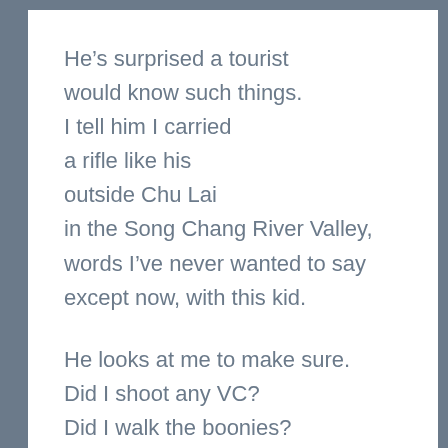He's surprised a tourist would know such things. I tell him I carried a rifle like his outside Chu Lai in the Song Chang River Valley, words I've never wanted to say except now, with this kid.

He looks at me to make sure. Did I shoot any VC? Did I walk the boonies?